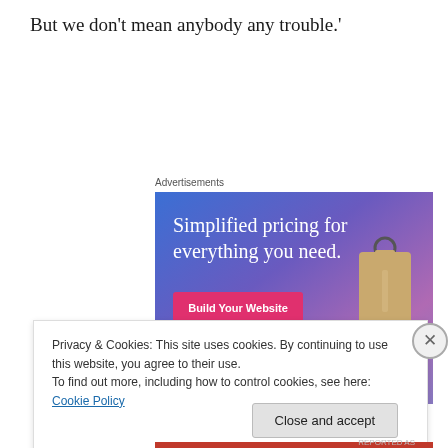But we don't mean anybody any trouble.'
Advertisements
[Figure (illustration): Advertisement banner with blue-to-purple gradient background. Headline reads 'Simplified pricing for everything you need.' with a pink 'Build Your Website' button and a tan price tag graphic on the right.]
Privacy & Cookies: This site uses cookies. By continuing to use this website, you agree to their use.
To find out more, including how to control cookies, see here: Cookie Policy
Close and accept